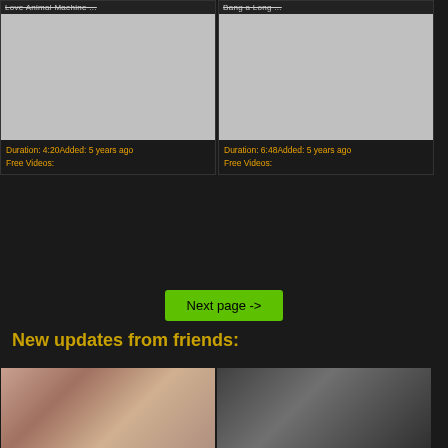Duration: 4:20Added: 5 years ago
Free Videos:
Duration: 6:48Added: 5 years ago
Free Videos:
Next page ->
New updates from friends:
[Figure (photo): Video thumbnail photo 1]
[Figure (photo): Video thumbnail photo 2]